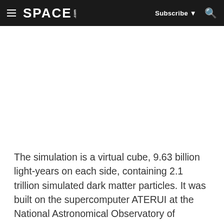SPACE.com — Subscribe — Search
[Figure (other): Advertisement or blank white space area below the navigation header]
The simulation is a virtual cube, 9.63 billion light-years on each side, containing 2.1 trillion simulated dark matter particles. It was built on the supercomputer ATERUI at the National Astronomical Observatory of